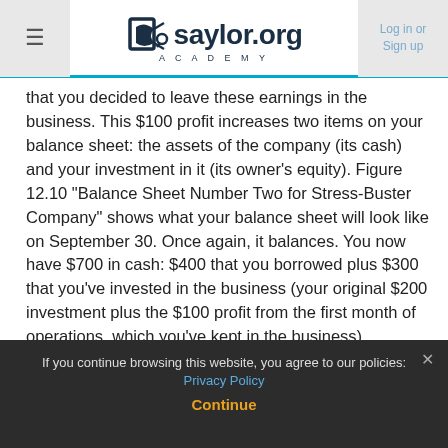saylor.org ACADEMY — Log in or Sign up
that you decided to leave these earnings in the business. This $100 profit increases two items on your balance sheet: the assets of the company (its cash) and your investment in it (its owner's equity). Figure 12.10 "Balance Sheet Number Two for Stress-Buster Company" shows what your balance sheet will look like on September 30. Once again, it balances. You now have $700 in cash: $400 that you borrowed plus $300 that you've invested in the business (your original $200 investment plus the $100 profit from the first month of operations, which you've kept in the business).
Figure 12.10 Balance Sheet Number Two for Stress-Buster Company
If you continue browsing this website, you agree to our policies: Privacy Policy
Continue